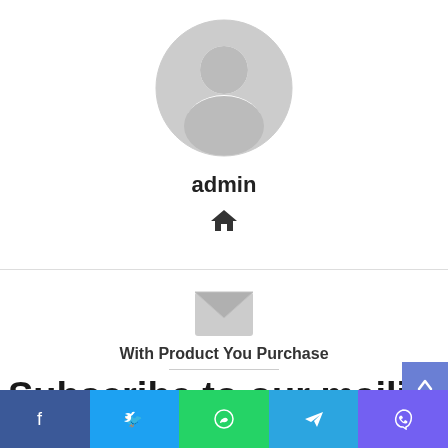[Figure (illustration): Gray default user avatar circle with person silhouette]
admin
[Figure (illustration): Small home icon]
[Figure (illustration): Gray envelope/mail icon]
With Product You Purchase
Subscribe to our mailing lis
[Figure (illustration): Social sharing bar with Facebook, Twitter, WhatsApp, Telegram, Viber icons]